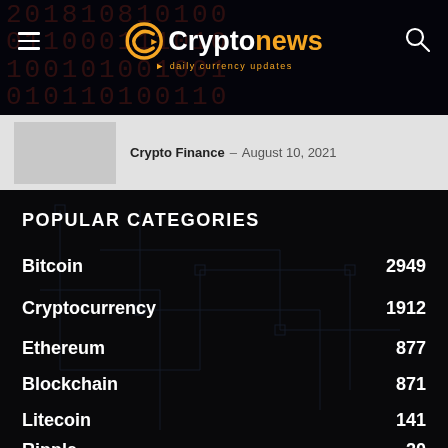Cryptonews - daily currency updates
Crypto Finance – August 10, 2021
POPULAR CATEGORIES
Bitcoin 2949
Cryptocurrency 1912
Ethereum 877
Blockchain 871
Litecoin 141
Ripple 20